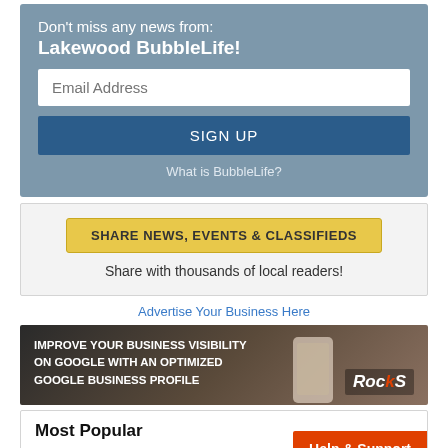Don't miss any news from: Lakewood BubbleLife!
Email Address
SIGN UP
What is BubbleLife?
SHARE NEWS, EVENTS & CLASSIFIEDS
Share with thousands of local readers!
Advertise Your Business Here
[Figure (infographic): Ad banner: IMPROVE YOUR BUSINESS VISIBILITY ON GOOGLE WITH AN OPTIMIZED GOOGLE BUSINESS PROFILE, with phone image and RockS logo]
Most Popular
Help & Support